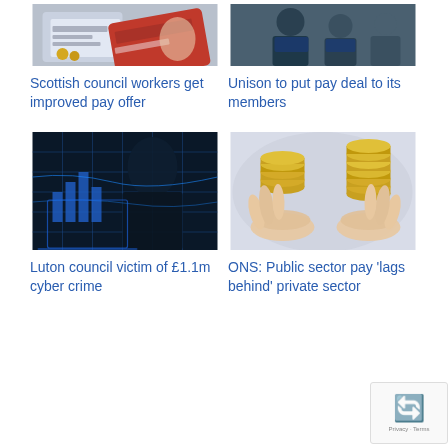[Figure (photo): Credit cards and financial documents on a desk]
Scottish council workers get improved pay offer
[Figure (photo): People in blue shirts, workers or union members]
Unison to put pay deal to its members
[Figure (photo): Dark blue cyber security image with person at computer with data streams]
Luton council victim of £1.1m cyber crime
[Figure (photo): Hands balancing stacks of gold coins]
ONS: Public sector pay 'lags behind' private sector